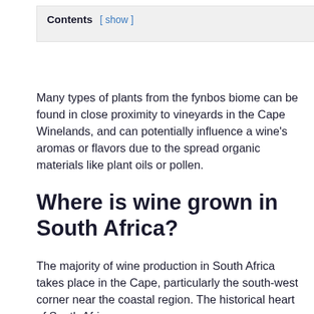Contents [ show ]
Many types of plants from the fynbos biome can be found in close proximity to vineyards in the Cape Winelands, and can potentially influence a wine's aromas or flavors due to the spread organic materials like plant oils or pollen.
Where is wine grown in South Africa?
The majority of wine production in South Africa takes place in the Cape, particularly the south-west corner near the coastal region. The historical heart of South African